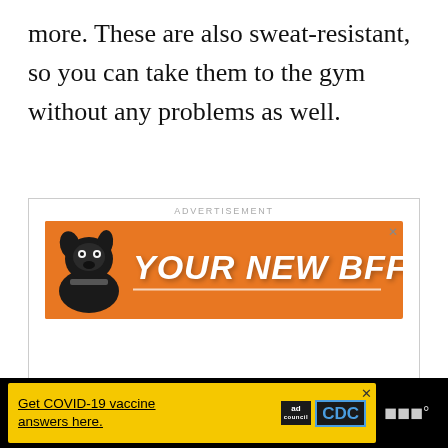more. These are also sweat-resistant, so you can take them to the gym without any problems as well.
[Figure (other): Advertisement banner with orange background showing a dog silhouette and text 'YOUR NEW BFF']
[Figure (other): Footer advertisement bar: black background with yellow ad for COVID-19 vaccine information with ad council and CDC logos]